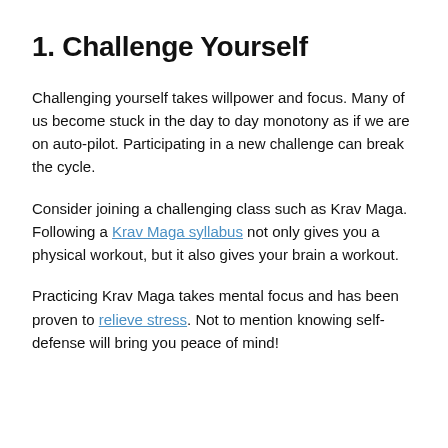1. Challenge Yourself
Challenging yourself takes willpower and focus. Many of us become stuck in the day to day monotony as if we are on auto-pilot. Participating in a new challenge can break the cycle.
Consider joining a challenging class such as Krav Maga. Following a Krav Maga syllabus not only gives you a physical workout, but it also gives your brain a workout.
Practicing Krav Maga takes mental focus and has been proven to relieve stress. Not to mention knowing self-defense will bring you peace of mind!